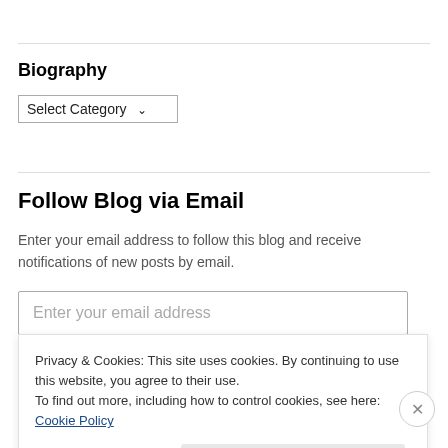Biography
[Figure (screenshot): Select Category dropdown widget with a downward arrow]
Follow Blog via Email
Enter your email address to follow this blog and receive notifications of new posts by email.
[Figure (screenshot): Email address input field with placeholder text 'Enter your email address']
Privacy & Cookies: This site uses cookies. By continuing to use this website, you agree to their use.
To find out more, including how to control cookies, see here: Cookie Policy
Close and accept